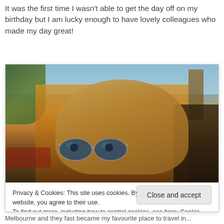It was the first time I wasn't able to get the day off on my birthday but I am lucky enough to have lovely colleagues who made my day great!
[Figure (photo): Close-up photo of a young blonde woman wearing aviator sunglasses with a blue tint, shot in warm golden-hour lighting outdoors. She has red lipstick. Background shows trees, cars, and buildings slightly out of focus.]
Privacy & Cookies: This site uses cookies. By continuing to use this website, you agree to their use.
To find out more, including how to control cookies, see here: Cookie Policy
Close and accept
Melbourne and they fast became my favourite place to travel in...